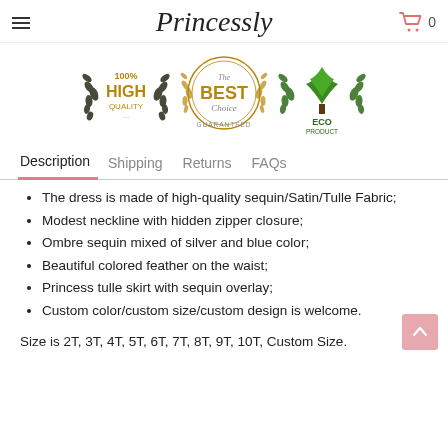Princessly
[Figure (logo): Three circular badges: '100% HIGH QUALITY' with laurel wreath in dark olive, 'The BEST Choice GUARANTEED' with gold laurel wreath, and 'ECO PRODUCT' with green tree and laurel wreath]
Description   Shipping   Returns   FAQs
The dress is made of high-quality sequin/Satin/Tulle Fabric;
Modest neckline with hidden zipper closure;
Ombre sequin mixed of silver and blue color;
Beautiful colored feather on the waist;
Princess tulle skirt with sequin overlay;
Custom color/custom size/custom design is welcome.
Size is 2T, 3T, 4T, 5T, 6T, 7T, 8T, 9T, 10T, Custom Size.